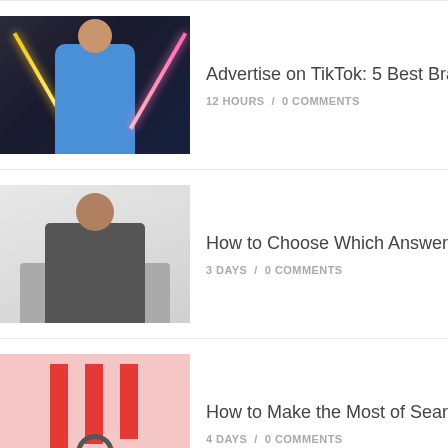[Figure (photo): Young woman in blue hoodie posing with arms outstretched under neon diagonal light lines on dark background]
Advertise on TikTok: 5 Best Brand...
12 HOURS /  0 COMMENTS
[Figure (photo): Woman with glasses looking at laptop screen in office setting]
How to Choose Which Answering...
3 DAYS /  0 COMMENTS
[Figure (photo): 3D illustration of a market stall with red and white striped awning and search icon on pink background]
How to Make the Most of Search P...
4 DAYS /  0 COMMENTS